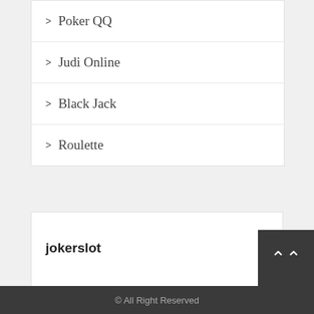> Poker QQ
> Judi Online
> Black Jack
> Roulette
jokerslot
© All Right Reserved